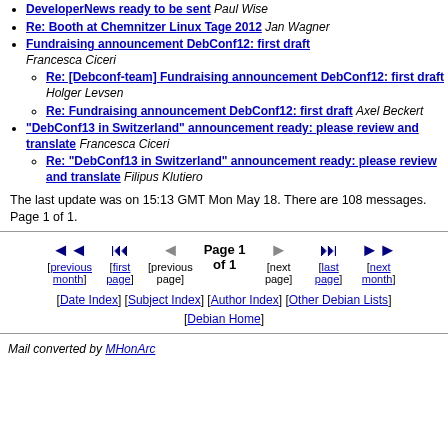DeveloperNews ready to be sent Paul Wise
Re: Booth at Chemnitzer Linux Tage 2012 Jan Wagner
Fundraising announcement DebConf12: first draft Francesca Ciceri
Re: [Debconf-team] Fundraising announcement DebConf12: first draft Holger Levsen
Re: Fundraising announcement DebConf12: first draft Axel Beckert
"DebConf13 in Switzerland" announcement ready: please review and translate Francesca Ciceri
Re: "DebConf13 in Switzerland" announcement ready: please review and translate Filipus Klutiero
The last update was on 15:13 GMT Mon May 18. There are 108 messages. Page 1 of 1.
Page 1 of 1 [previous month] [first page] [previous page] [next page] [last page] [next month]
[Date Index] [Subject Index] [Author Index] [Other Debian Lists] [Debian Home]
Mail converted by MHonArc